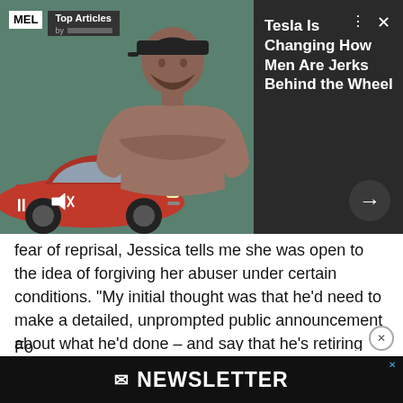[Figure (screenshot): MEL Magazine video overlay showing a red Tesla car and a shirtless tattooed man with arms crossed, on a teal/green background. Includes MEL Top Articles header, pause and mute controls, next arrow button, and X close button.]
Tesla Is Changing How Men Are Jerks Behind the Wheel
fear of reprisal, Jessica tells me she was open to the idea of forgiving her abuser under certain conditions. “My initial thought was that he’d need to make a detailed, unprompted public announcement about what he’d done – and say that he’s retiring from teaching for this reason,” she explains. She also says he’d need to start therapy, and disengage from her social circle and any other victims.
[Figure (screenshot): MEL Newsletter black banner with white bold text reading 'MEL NEWSLETTER' with an envelope icon.]
Fo